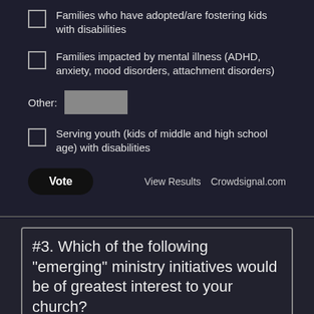Families who have adopted/are fostering kids with disabilities
Families impacted by mental illness (ADHD, anxiety, mood disorders, attachment disorders)
Other: [text input field]
Serving youth (kids of middle and high school age) with disabilities
Vote   View Results   Crowdsignal.com
#3. Which of the following "emerging" ministry initiatives would be of greatest interest to your church?
Training "parent mentors" to support families impacted by disability in the church